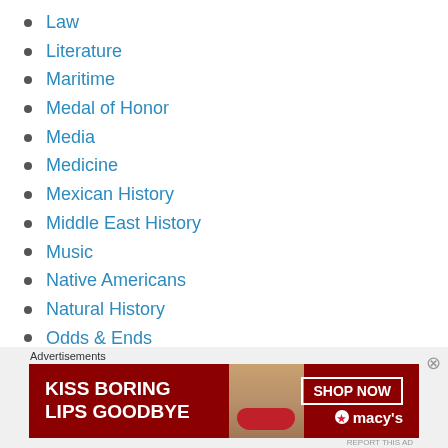Law
Literature
Maritime
Medal of Honor
Media
Medicine
Mexican History
Middle East History
Music
Native Americans
Natural History
Odds & Ends
Politics & Government
[Figure (other): Advertisement banner for Macy's: 'KISS BORING LIPS GOODBYE' with a SHOP NOW button and Macy's star logo, featuring a woman's face with red lips.]